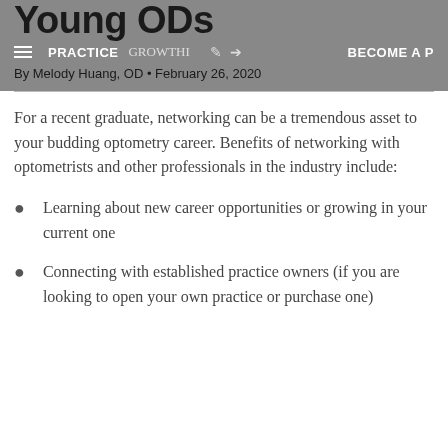Young ODs
PRACTICE GROWTH   By Melody Huang, OD • February 26, 2020
For a recent graduate, networking can be a tremendous asset to your budding optometry career. Benefits of networking with optometrists and other professionals in the industry include:
Learning about new career opportunities or growing in your current one
Connecting with established practice owners (if you are looking to open your own practice or purchase one)